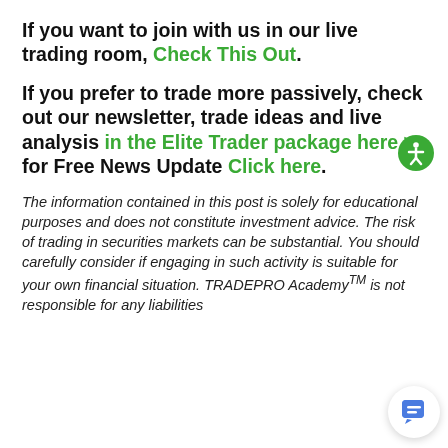If you want to join with us in our live trading room, Check This Out.
If you prefer to trade more passively, check out our newsletter, trade ideas and live analysis in the Elite Trader package here > for Free News Update Click here.
The information contained in this post is solely for educational purposes and does not constitute investment advice. The risk of trading in securities markets can be substantial. You should carefully consider if engaging in such activity is suitable for your own financial situation. TRADEPRO Academy™ is not responsible for any liabilities